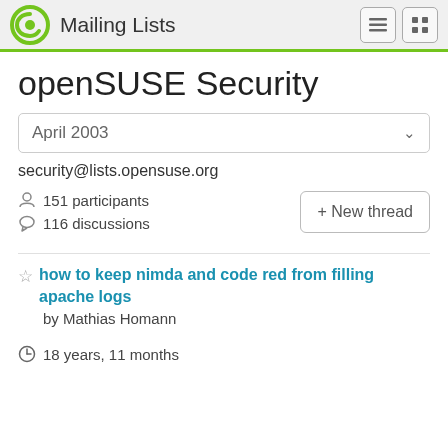Mailing Lists
openSUSE Security
April 2003
security@lists.opensuse.org
151 participants
116 discussions
+ New thread
how to keep nimda and code red from filling apache logs
by Mathias Homann
18 years, 11 months